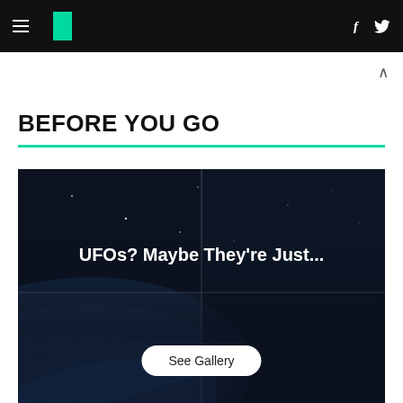Huffington Post navigation header with hamburger menu, logo, Facebook and Twitter icons
BEFORE YOU GO
[Figure (photo): Dark space/Earth background image with grid overlay showing gallery of UFO images. Title text reads: UFOs? Maybe They're Just... with a 'See Gallery' button at the bottom.]